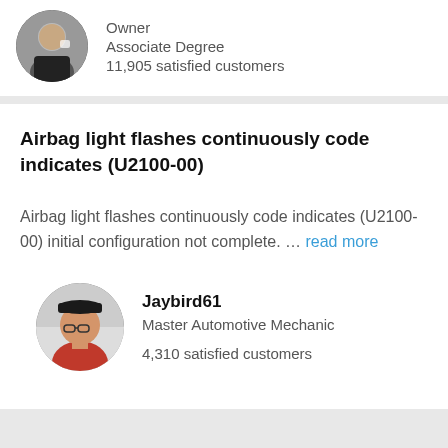[Figure (photo): Circular avatar photo of an expert holding a mug, wearing a dark jacket]
Owner
Associate Degree
11,905 satisfied customers
Airbag light flashes continuously code indicates (U2100-00)
Airbag light flashes continuously code indicates (U2100-00) initial configuration not complete. … read more
[Figure (photo): Circular avatar photo of Jaybird61, a man wearing a black cap and glasses]
Jaybird61
Master Automotive Mechanic
4,310 satisfied customers